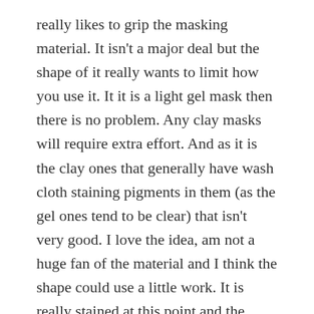really likes to grip the masking material. It isn't a major deal but the shape of it really wants to limit how you use it. It it is a light gel mask then there is no problem. Any clay masks will require extra effort. And as it is the clay ones that generally have wash cloth staining pigments in them (as the gel ones tend to be clear) that isn't very good. I love the idea, am not a huge fan of the material and I think the shape could use a little work. It is really stained at this point and the makeup cloths from The Turkish Towel Company have dealt with my mask like champs so I have no problem letting this Glov masking cloth go.
It wasn't a big clear out as fare as these things go, but if you are looking to work more reusable makeup cloths into your routine and wanted to